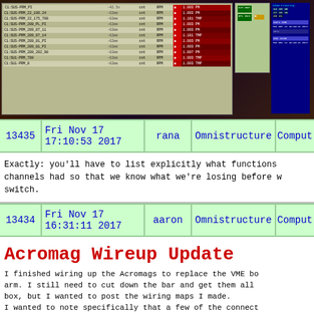[Figure (screenshot): Screenshot of a monitoring/control software interface showing a table of channels with red status indicators, a dark blue control panel, and a configuration panel on a dark background]
| ID | Date/Time | User | Category | Type |
| --- | --- | --- | --- | --- |
| 13435 | Fri Nov 17 17:10:53 2017 | rana | Omnistructure | Computer |
Exactly: you'll have to list explicitly what functions channels had so that we know what we're losing before we switch.
| ID | Date/Time | User | Category | Type |
| --- | --- | --- | --- | --- |
| 13434 | Fri Nov 17 16:31:11 2017 | aaron | Omnistructure | Computer |
Acromag Wireup Update
I finished wiring up the Acromags to replace the VME box arm. I still need to cut down the bar and get them all in the box, but I wanted to post the wiring maps I made.
I wanted to note specifically that a few of the connectors were assigned to VME boxes but are no longer assigned in this new setup. We should be sure that we actually do not need the following channels:
Channels no longer in use